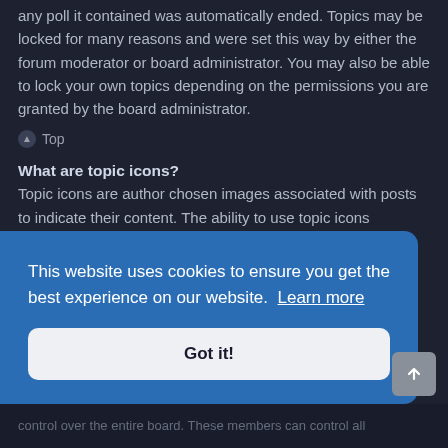any poll it contained was automatically ended. Topics may be locked for many reasons and were set this way by either the forum moderator or board administrator. You may also be able to lock your own topics depending on the permissions you are granted by the board administrator.
⬆ Top
What are topic icons?
Topic icons are author chosen images associated with posts to indicate their content. The ability to use topic icons depends on the permissions set by the board administrator.
⬆ Top
This website uses cookies to ensure you get the best experience on our website. Learn more
Got it!
control over the entire board. These members can control all